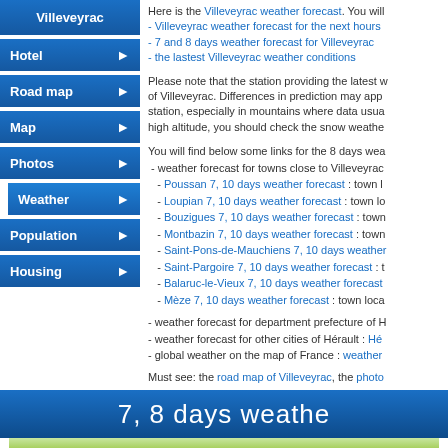Villeveyrac
Hotel
Road map
Map
Photos
Weather
Population
Housing
Here is the Villeveyrac weather forecast. You will find below:
- Villeveyrac weather forecast for the next hours
- 7 and 8 days weather forecast for Villeveyrac
- the lastest Villeveyrac weather conditions
Please note that the station providing the latest weather data may not be located in the center of Villeveyrac. Differences in prediction may appear compared to data provided by the station, especially in mountains where data usually corresponds to the valley and not to the high altitude, you should check the snow weather forecast.
You will find below some links for the 8 days weather forecast:
- weather forecast for towns close to Villeveyrac:
  - Poussan 7, 10 days weather forecast : town l...
  - Loupian 7, 10 days weather forecast : town lo...
  - Bouzigues 7, 10 days weather forecast : town...
  - Montbazin 7, 10 days weather forecast : town...
  - Saint-Pons-de-Mauchiens 7, 10 days weather...
  - Saint-Pargoire 7, 10 days weather forecast : t...
  - Balaruc-le-Vieux 7, 10 days weather forecast...
  - Mèze 7, 10 days weather forecast : town loca...
- weather forecast for department prefecture of H...
- weather forecast for other cities of Hérault : Hé...
- global weather on the map of France : weather...
Must see: the road map of Villeveyrac, the photo...
7, 8 days weathe